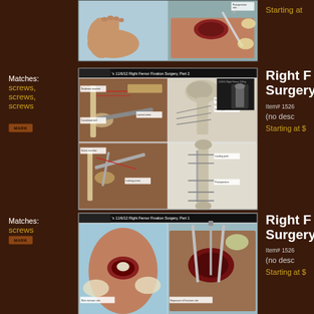[Figure (illustration): Medical illustration showing surgical procedure on a limb, partial view at top of page]
Starting at
Matches: screws, screws, screws
MARK
[Figure (illustration): Right Femur Fixation Surgery Part 2 - medical illustration showing surgical steps with screws and bone fixation, plus X-ray image of femur]
Right Femur Fixation Surgery
Item# 1526
(no desc
Starting at $
Matches: screws
MARK
[Figure (illustration): Right Femur Fixation Surgery Part 1 - medical illustration showing surgical procedure with screws on femur]
Right Femur Fixation Surgery
Item# 1526
(no desc
Starting at $